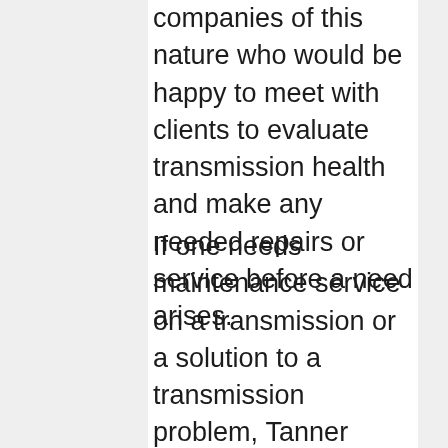companies of this nature who would be happy to meet with clients to evaluate transmission health and make any needed repairs or service before a need arises.
If one needs maintenance service on a transmission or a solution to a transmission problem, Tanner Transmissions Inc is a company providing Clutch Replacement Service in Ogden, UT. Any company providing this kind of service should be willing to provide a warranty on its products to give clients the